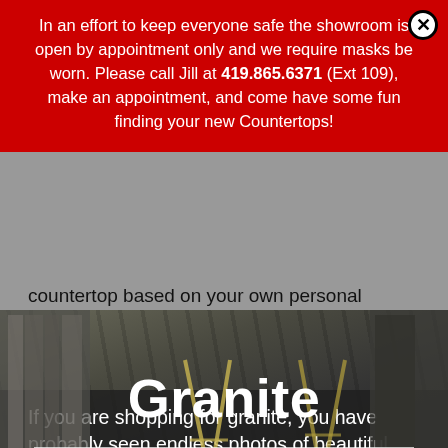In an effort to keep everyone safe the showroom is open by appointment only and we require masks be worn. Please call Jill at 419.865.6371 (Ext 109), make an appointment, and come have some fun finding your new Countertops!
countertop based on your own personal preference.
[Figure (photo): Dark showroom interior with granite slabs leaning against walls and A-frame sign stands on the floor]
Granite
If you are shopping for granite, you have probably seen endless photos of beautiful installations and rows of pristine slabs at suppliers. However, have you ever